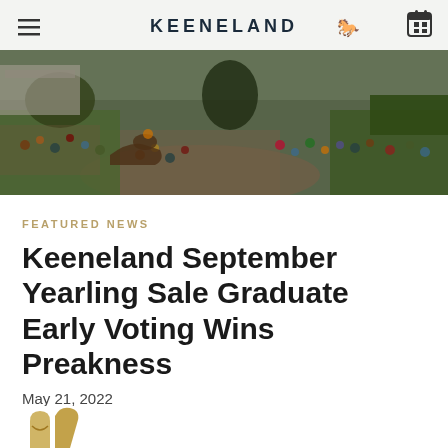[Figure (photo): Aerial/overhead view of a crowd of people at Keeneland racetrack grounds, with horses visible, trees, and pathways. The Keeneland logo and navigation bar overlay the top of the image.]
KEENELAND
FEATURED NEWS
Keeneland September Yearling Sale Graduate Early Voting Wins Preakness
May 21, 2022